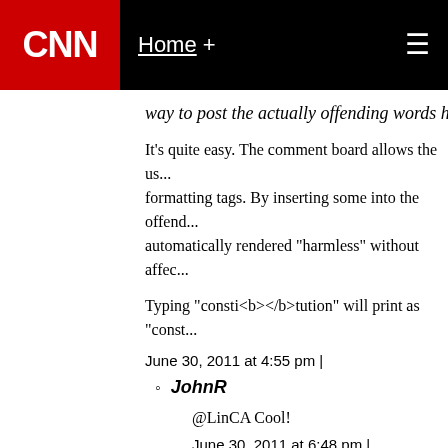CNN  Home +
way to post the actually offending words here fo...
It's quite easy. The comment board allows the us... formatting tags. By inserting some into the offend... automatically rendered "harmless" without affec...
Typing "consti<b></b>tution" will print as "const...
June 30, 2011 at 4:55 pm |
JohnR
@LinCA Cool!
June 30, 2011 at 6:48 pm |
5. JW
It is not all about converting people to Jesus. It is abou... they need it. If people happen to be inspired by Jesus... should be upset about that.